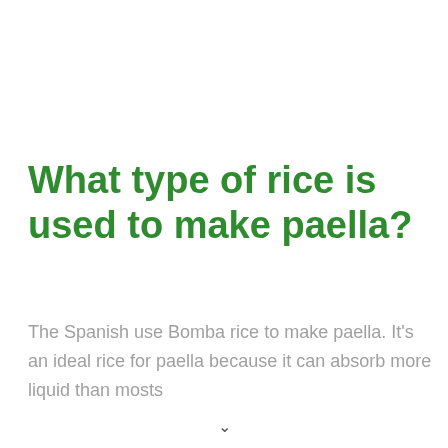What type of rice is used to make paella?
The Spanish use Bomba rice to make paella. It's an ideal rice for paella because it can absorb more liquid than mosts